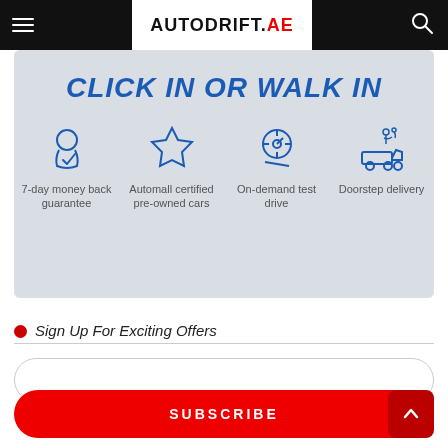AUTODRIFT.AE
[Figure (infographic): Banner showing 'CLICK IN OR WALK IN' with four icons: 7-day money back guarantee, Automall certified pre-owned cars, On-demand test drive, Doorstep delivery]
Sign Up For Exciting Offers
SUBSCRIBE